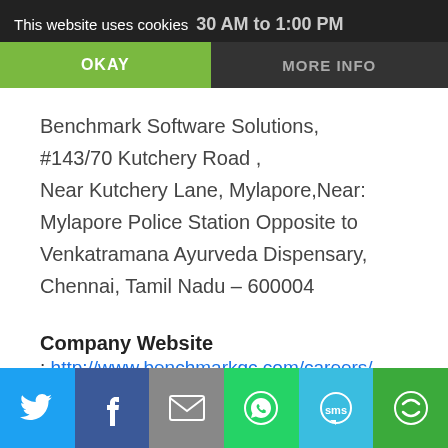This website uses cookies  30 AM to 1:00 PM
OKAY
MORE INFO
Benchmark Software Solutions,
#143/70 Kutchery Road ,
Near Kutchery Lane, Mylapore,Near: Mylapore Police Station Opposite to Venkatramana Ayurveda Dispensary, Chennai, Tamil Nadu – 600004
Company Website
: http://www.benchmarkgc.com/careers/